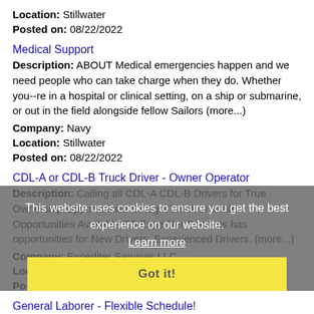Location: Stillwater
Posted on: 08/22/2022
Medical Support
Description: ABOUT Medical emergencies happen and we need people who can take charge when they do. Whether you--re in a hospital or clinical setting, on a ship or submarine, or out in the field alongside fellow Sailors (more...)
Company: Navy
Location: Stillwater
Posted on: 08/22/2022
CDL-A or CDL-B Truck Driver - Owner Operator
Description: Calling all CDL-A CDL-B Drivers for True Ownership Opportunities Straight Truck or Trailer Opportunities Available ES Expediter Services has opportunities for New Drivers, Experienced Drivers, (more...)
Company: Expediter Services LLC
Location: Stillwater
Posted on: 08/22/2022
General Laborer - Flexible Schedule!
Description: Start earning at 15/hour working general labor jobs that fit around your schedule. The more jobs that you work, the